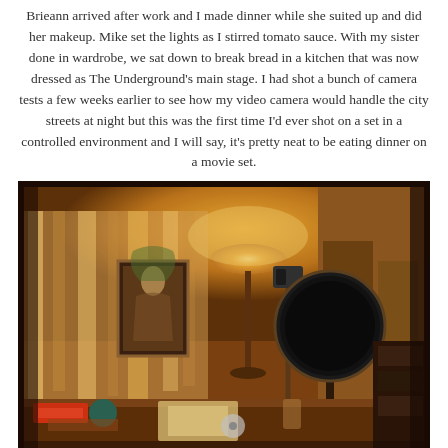Brieann arrived after work and I made dinner while she suited up and did her makeup. Mike set the lights as I stirred tomato sauce. With my sister done in wardrobe, we sat down to break bread in a kitchen that was now dressed as The Underground's main stage. I had shot a bunch of camera tests a few weeks earlier to see how my video camera would handle the city streets at night but this was the first time I'd ever shot on a set in a controlled environment and I will say, it's pretty neat to be eating dinner on a movie set.
[Figure (photo): A dimly lit room set up as a movie set. A camera on a tripod is visible in the background near a white curtain backdrop. A large circular light/reflector on a stand is prominent in the foreground right. A painting of a woman hangs on the wall. Various items are scattered on a wooden table in the foreground. The scene has a warm amber/orange color cast from the ambient lighting.]